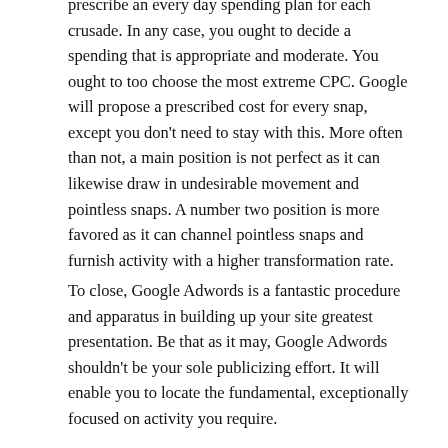prescribe an every day spending plan for each crusade. In any case, you ought to decide a spending that is appropriate and moderate. You ought to too choose the most extreme CPC. Google will propose a prescribed cost for every snap, except you don't need to stay with this. More often than not, a main position is not perfect as it can likewise draw in undesirable movement and pointless snaps. A number two position is more favored as it can channel pointless snaps and furnish activity with a higher transformation rate.
To close, Google Adwords is a fantastic procedure and apparatus in building up your site greatest presentation. Be that as it may, Google Adwords shouldn't be your sole publicizing effort. It will enable you to locate the fundamental, exceptionally focused on activity you require.